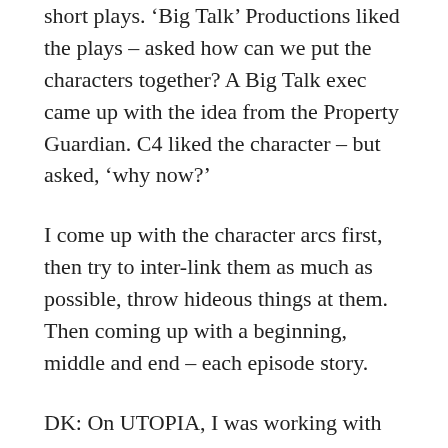short plays. ‘Big Talk’ Productions liked the plays – asked how can we put the characters together? A Big Talk exec came up with the idea from the Property Guardian. C4 liked the character – but asked, ‘why now?’
I come up with the character arcs first, then try to inter-link them as much as possible, throw hideous things at them. Then coming up with a beginning, middle and end – each episode story.
DK: On UTOPIA, I was working with really good people. Good producers do